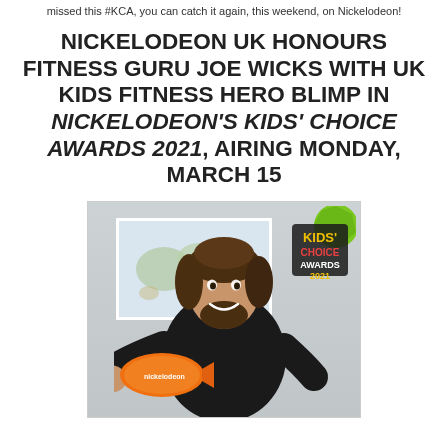missed this #KCA, you can catch it again, this weekend, on Nickelodeon!
NICKELODEON UK HONOURS FITNESS GURU JOE WICKS WITH UK KIDS FITNESS HERO BLIMP IN NICKELODEON'S KIDS' CHOICE AWARDS 2021, AIRING MONDAY, MARCH 15
[Figure (photo): Joe Wicks smiling and holding an orange Nickelodeon blimp trophy, wearing a black t-shirt, with a world map on the wall behind him. Kids' Choice Awards 2021 logo visible in the top right corner of the image.]